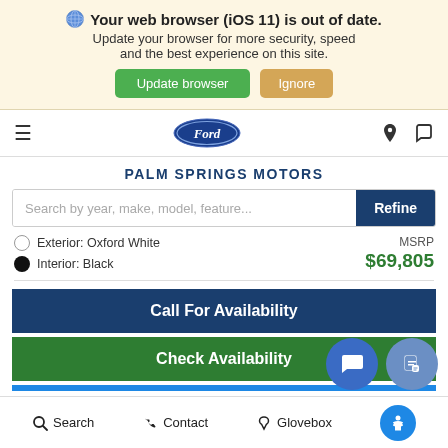🌐 Your web browser (iOS 11) is out of date. Update your browser for more security, speed and the best experience on this site.
Update browser  Ignore
[Figure (logo): Ford oval blue logo in navigation bar]
PALM SPRINGS MOTORS
Search by year, make, model, feature...   Refine
Exterior: Oxford White
Interior: Black
MSRP  $69,805
Call For Availability
Check Availability
Search   Contact   Glovebox